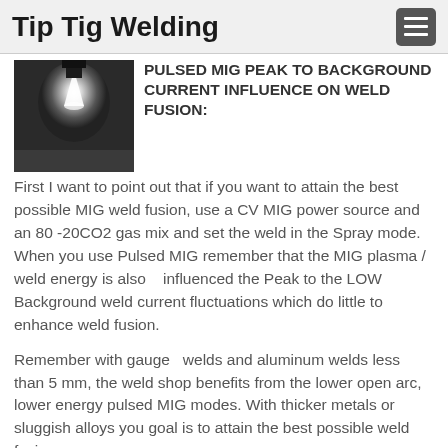Tip Tig Welding
PULSED MIG PEAK TO BACKGROUND CURRENT INFLUENCE ON WELD FUSION:
[Figure (photo): Black and white photo of a MIG welding arc/plasma, showing bright white light emanating from the weld torch against a dark background.]
First I want to point out that if you want to attain the best possible MIG weld fusion, use a CV MIG power source and an 80 -20CO2 gas mix and set the weld in the Spray mode.  When you use Pulsed MIG remember that the MIG plasma / weld energy is also   influenced the Peak to the LOW Background weld current fluctuations which do little to enhance weld fusion.
Remember with gauge  welds and aluminum welds less than 5 mm, the weld shop benefits from the lower open arc, lower energy pulsed MIG modes. With thicker metals or sluggish alloys you goal is to attain the best possible weld fusion.